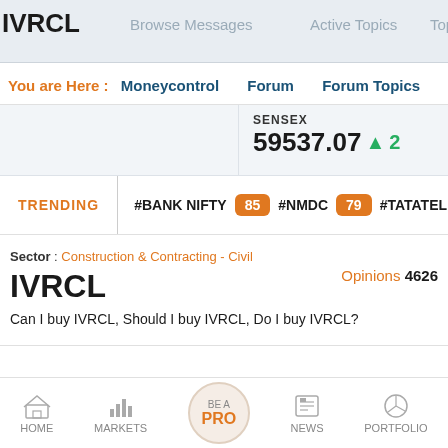IVRCL | Browse Messages | Active Topics | Top Boarders
You are Here : Moneycontrol   Forum   Forum Topics   S
SENSEX 59537.07 ▲ 2
TRENDING  #BANK NIFTY 85  #NMDC 79  #TATATELE
Sector : Construction & Contracting - Civil
IVRCL
Opinions 4626
Can I buy IVRCL, Should I buy IVRCL, Do I buy IVRCL?
HOME  MARKETS  BE A PRO  NEWS  PORTFOLIO